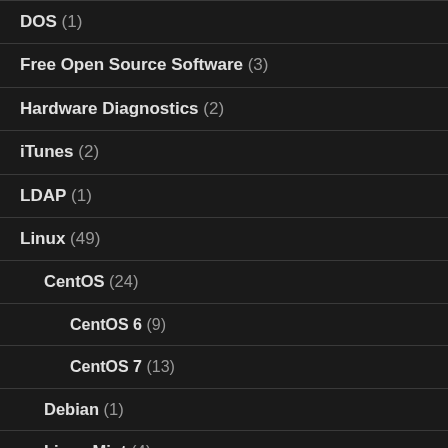DOS (1)
Free Open Source Software (3)
Hardware Diagnostics (2)
iTunes (2)
LDAP (1)
Linux (49)
CentOS (24)
CentOS 6 (9)
CentOS 7 (13)
Debian (1)
Linux Mint (4)
Linux Mint 14 Nadia (1)